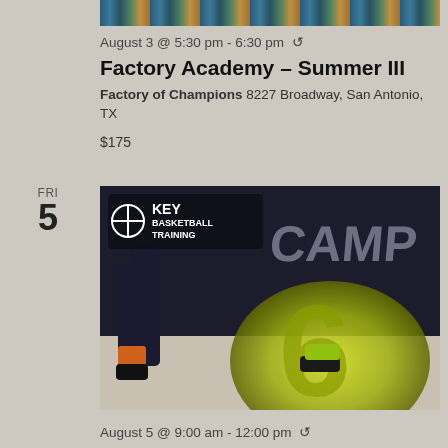[Figure (photo): Top partial image of a basketball/sports event banner with colorful pattern]
August 3 @ 5:30 pm - 6:30 pm ↺
Factory Academy – Summer III
Factory of Champions 8227 Broadway, San Antonio, TX
$175
FRI
5
[Figure (photo): KEY Basketball Training Camp promotional image showing basketball players with large '6' number graphic and yellow/green and dark tones]
August 5 @ 9:00 am - 12:00 pm ↺
KBT Summer Basketball Scoring Camp